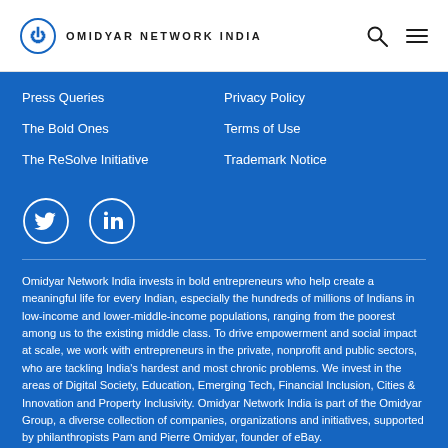ON OMIDYAR NETWORK INDIA
Press Queries
The Bold Ones
The ReSolve Initiative
Privacy Policy
Terms of Use
Trademark Notice
[Figure (illustration): Twitter and LinkedIn social media icons in white circles on blue background]
Omidyar Network India invests in bold entrepreneurs who help create a meaningful life for every Indian, especially the hundreds of millions of Indians in low-income and lower-middle-income populations, ranging from the poorest among us to the existing middle class. To drive empowerment and social impact at scale, we work with entrepreneurs in the private, nonprofit and public sectors, who are tackling India's hardest and most chronic problems. We invest in the areas of Digital Society, Education, Emerging Tech, Financial Inclusion, Cities & Innovation and Property Inclusivity. Omidyar Network India is part of the Omidyar Group, a diverse collection of companies, organizations and initiatives, supported by philanthropists Pam and Pierre Omidyar, founder of eBay.